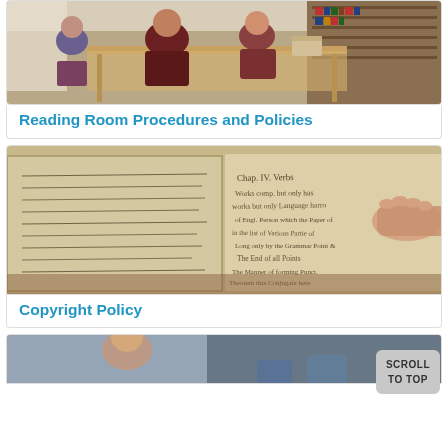[Figure (photo): Students sitting at wooden tables in a library reading room, working with archival materials. Bookshelves visible in background.]
Reading Room Procedures and Policies
[Figure (photo): Close-up of an open historic manuscript or handwritten book being held open by a hand, showing old cursive script text.]
Copyright Policy
[Figure (photo): Partial view of another library/archival scene, cropped at bottom of page.]
SCROLL TO TOP